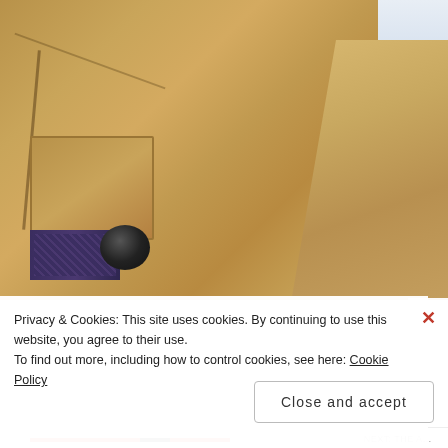[Figure (photo): Close-up macro photograph of a tan/khaki wool or felt coat showing a chest pocket patch, a dark button, and a dark woven zipper or fabric trim at the bottom. The right side shows a fold or lapel in the same tan wool fabric. Top right corner shows a blurred light grey/blue sky background.]
Privacy & Cookies: This site uses cookies. By continuing to use this website, you agree to their use.
To find out more, including how to control cookies, see here: Cookie Policy